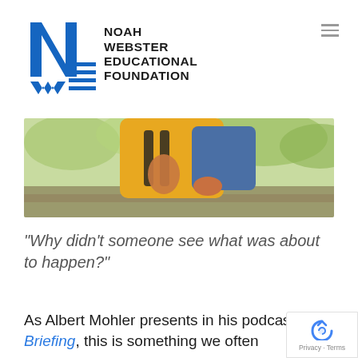[Figure (logo): Noah Webster Educational Foundation logo with blue NW lettermark and horizontal lines]
[Figure (photo): Student wearing yellow jacket and blue shirt with backpack, outdoor setting with green trees]
“Why didn’t someone see what was about to happen?”
As Albert Mohler presents in his podcast, The Briefing, this is something we often